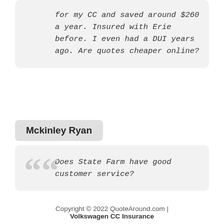for my CC and saved around $260 a year. Insured with Erie before. I even had a DUI years ago. Are quotes cheaper online?
Mckinley Ryan
Does State Farm have good customer service?
Copyright © 2022 QuoteAround.com | Volkswagen CC Insurance